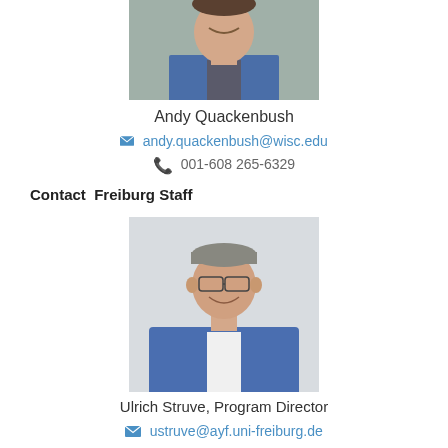[Figure (photo): Cropped photo of Andy Quackenbush, partial face visible, smiling, wearing blue jacket]
Andy Quackenbush
andy.quackenbush@wisc.edu
001-608 265-6329
Contact  Freiburg Staff
[Figure (photo): Portrait photo of Ulrich Struve, Program Director, smiling man wearing glasses and blue blazer, light background]
Ulrich Struve, Program Director
ustruve@ayf.uni-freiburg.de